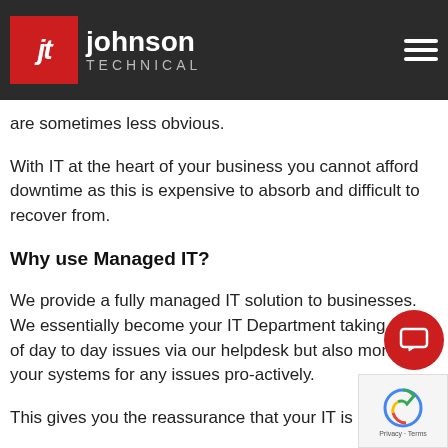Johnson Technical — navigation bar with logo
form whether it be to communicate or to in cycles IT has become bedu fits are clear but the risks are sometimes less obvious.
With IT at the heart of your business you cannot afford downtime as this is expensive to absorb and difficult to recover from.
Why use Managed IT?
We provide a fully managed IT solution to businesses. We essentially become your IT Department taking care of day to day issues via our helpdesk but also monitoring your systems for any issues pro-actively.
This gives you the reassurance that your IT is